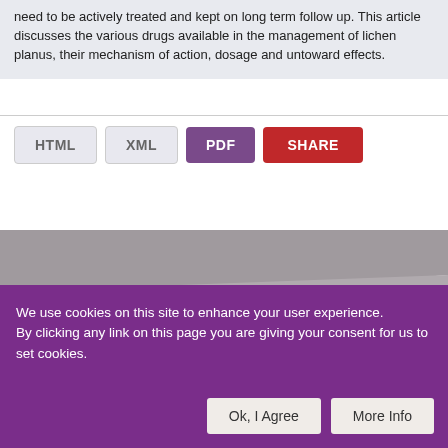need to be actively treated and kept on long term follow up. This article discusses the various drugs available in the management of lichen planus, their mechanism of action, dosage and untoward effects.
[Figure (screenshot): Row of format/action buttons: HTML (light gray), XML (light gray), PDF (purple filled), SHARE (red filled)]
[Figure (illustration): Decorative graphic banner with gray and purple diagonal swoosh shapes on gray background]
We use cookies on this site to enhance your user experience. By clicking any link on this page you are giving your consent for us to set cookies.